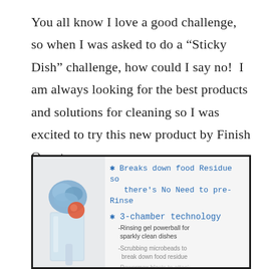You all know I love a good challenge, so when I was asked to do a “Sticky Dish” challenge, how could I say no!  I am always looking for the best products and solutions for cleaning so I was excited to try this new product by Finish Quantum.
[Figure (infographic): Finish Quantum product infographic with a blue and red dish scrubber/tablet image on the left, and text listing product features: Breaks down food residue so there's no need to pre-rinse; 3-chamber technology; Rinsing gel powerball for sparkly clean dishes; Scrubbing microbeads to break down food residue; and partially visible text.]